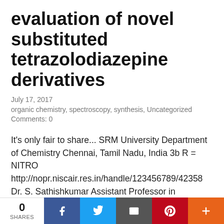evaluation of novel substituted tetrazolodiazepine derivatives
July 17, 2017
organic chemistry, spectroscopy, synthesis, Uncategorized
Comments: 0
It's only fair to share... SRM University Department of Chemistry Chennai, Tamil Nadu, India 3b R = NITRO http://nopr.niscair.res.in/handle/123456789/42358 Dr. S. Sathishkumar Assistant Professor in Chemistry, Kongu Engineering College, Perundurai, Erode – 638052 DR. HELEN P. KAVITHA Dr. Helen P. Kavitha Professor and Head of the Department E-mail: helen.p@rmp.srmuniv.ac.in Area: Chemistry